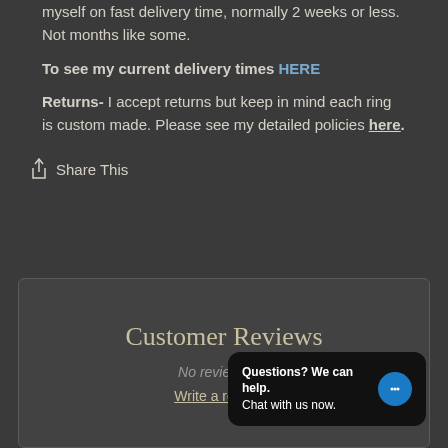myself on fast delivery time, normally 2 weeks or less. Not months like some.
To see my current delivery times HERE
Returns- I accept returns but keep in mind each ring is custom made. Please see my detailed policies here.
Share This
Customer Reviews
No reviews yet
Write a review...
Questions? We can help. Chat with us now.